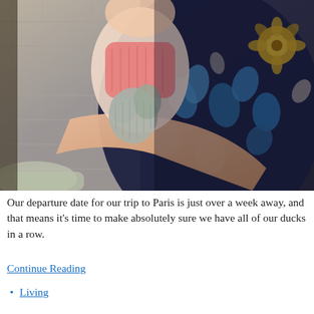[Figure (photo): A person wearing a dark floral dress holding a baby with a pink knit outfit and a gray knit stuffed toy/doll. The background shows a white brick wall and wooden furniture.]
Our departure date for our trip to Paris is just over a week away, and that means it's time to make absolutely sure we have all of our ducks in a row.
Continue Reading
Living